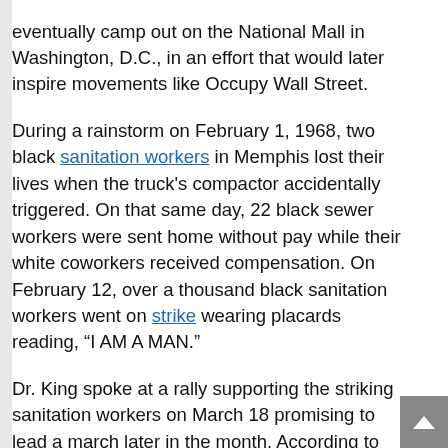eventually camp out on the National Mall in Washington, D.C., in an effort that would later inspire movements like Occupy Wall Street.
During a rainstorm on February 1, 1968, two black sanitation workers in Memphis lost their lives when the truck's compactor accidentally triggered. On that same day, 22 black sewer workers were sent home without pay while their white coworkers received compensation. On February 12, over a thousand black sanitation workers went on strike wearing placards reading, “I AM A MAN.”
Dr. King spoke at a rally supporting the striking sanitation workers on March 18 promising to lead a march later in the month. According to the Select Committee on Assassinations of the U.S. House of Representatives, a black civil rights group named the Invaders sabotaged the March 28 demonstration by distributing hundreds of two-by-two sticks attached to